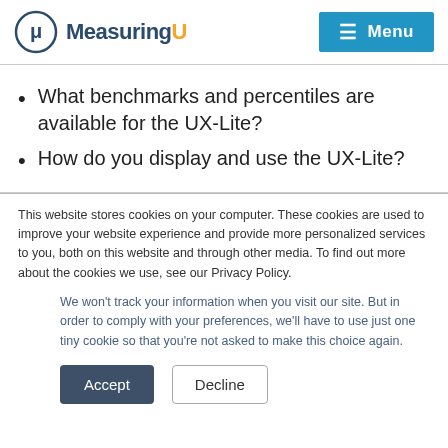MeasuringU — Menu
What benchmarks and percentiles are available for the UX-Lite?
How do you display and use the UX-Lite?
This website stores cookies on your computer. These cookies are used to improve your website experience and provide more personalized services to you, both on this website and through other media. To find out more about the cookies we use, see our Privacy Policy.
We won't track your information when you visit our site. But in order to comply with your preferences, we'll have to use just one tiny cookie so that you're not asked to make this choice again.